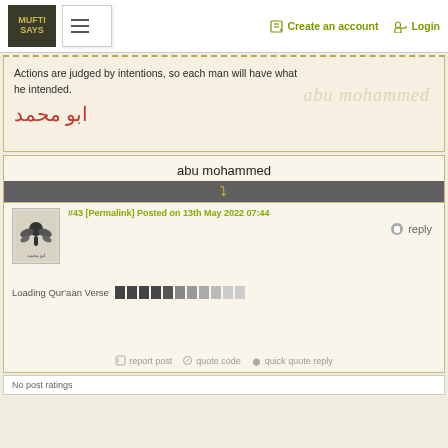MUFTI SAYS | ☰ | Create an account | Login
Actions are judged by intentions, so each man will have what he intended.
[Figure (other): Arabic calligraphy text and cursive script watermark reading 'abu mohammed']
abu mohammed
❧
#43 [Permalink] Posted on 13th May 2022 07:44
[Figure (logo): User avatar icon for abu mohammed]
reply
Loading Qur'aan Verse [progress bar]
report post  quote code  quick quote reply
No post ratings